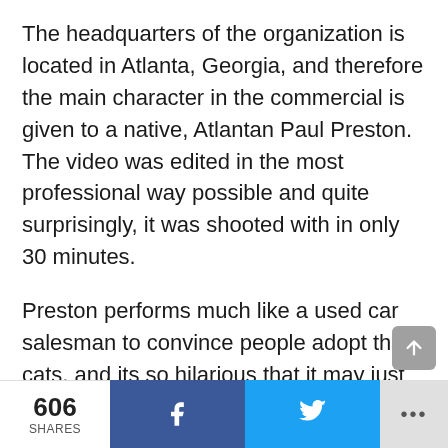The headquarters of the organization is located in Atlanta, Georgia, and therefore the main character in the commercial is given to a native, Atlantan Paul Preston. The video was edited in the most professional way possible and quite surprisingly, it was shooted with in only 30 minutes.
Preston performs much like a used car salesman to convince people adopt the cats, and its so hilarious that it may just bring tears to your eyes. For the record, Preston, in real life, is not a model or a comedian. He is actually a contractor for a rental property management firm, and randomly a very funny guy.
606 SHARES